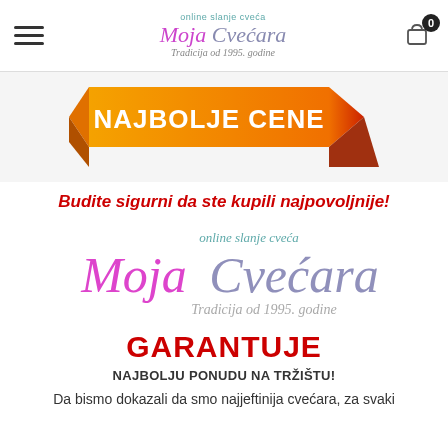Moja Cvećara – online slanje cveća – Tradicija od 1995. godine
[Figure (infographic): Orange and red ribbon banner with bold white text 'NAJBOLJE CENE']
Budite sigurni da ste kupili najpovoljnije!
[Figure (logo): Moja Cvećara logo – online slanje cveća – Tradicija od 1995. godine]
GARANTUJE
NAJBOLJU PONUDU NA TRŽIŠTU!
Da bismo dokazali da smo najjeftinija cvećara, za svaki